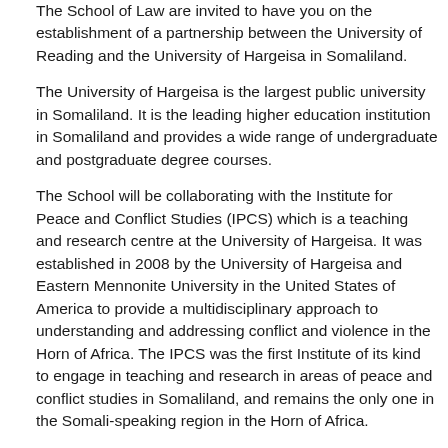The School of Law are invited to have you on the establishment of a partnership between the University of Reading and the University of Hargeisa in Somaliland.
The University of Hargeisa is the largest public university in Somaliland. It is the leading higher education institution in Somaliland and provides a wide range of undergraduate and postgraduate degree courses.
The School will be collaborating with the Institute for Peace and Conflict Studies (IPCS) which is a teaching and research centre at the University of Hargeisa. It was established in 2008 by the University of Hargeisa and Eastern Mennonite University in the United States of America to provide a multidisciplinary approach to understanding and addressing conflict and violence in the Horn of Africa. The IPCS was the first Institute of its kind to engage in teaching and research in areas of peace and conflict studies in Somaliland, and remains the only one in the Somali-speaking region in the Horn of Africa.
From an educational point of view, activities with IPCS can give our students a unique perspective on international peace and security issues from within a territory that is recovering from conflict.
Second, from a research perspective the University of Hargeisa